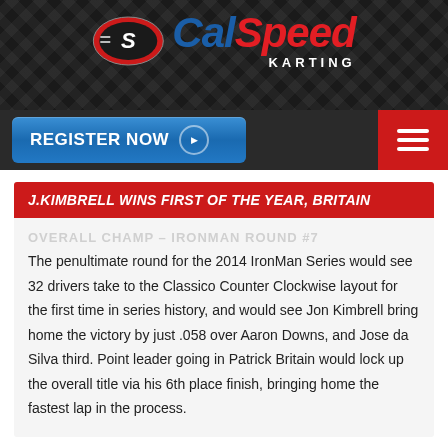[Figure (logo): CalSpeed Karting logo on dark background with checkered flag pattern]
[Figure (screenshot): Navigation bar with blue 'REGISTER NOW' button and red hamburger menu icon]
J.KIMBRELL WINS FIRST OF THE YEAR, BRITAIN
OVERALL CHAMP - IRONMAN ROUND #7
The penultimate round for the 2014 IronMan Series would see 32 drivers take to the Classico Counter Clockwise layout for the first time in series history, and would see Jon Kimbrell bring home the victory by just .058 over Aaron Downs, and Jose da Silva third. Point leader going in Patrick Britain would lock up the overall title via his 6th place finish, bringing home the fastest lap in the process.